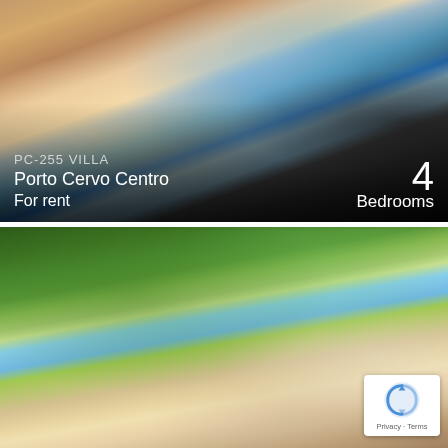[Figure (photo): Interior of a luxury villa living room with pink armchairs, large window overlooking the sea, plants, and a TV on the right. Warm earth tones with sea view in background.]
PC-255 VILLA
Porto Cervo Centro
For rent
4
Bedrooms
[Figure (photo): Exterior of a villa seen from below through pine trees, with a white arched building visible on the right side. Blue sky in background.]